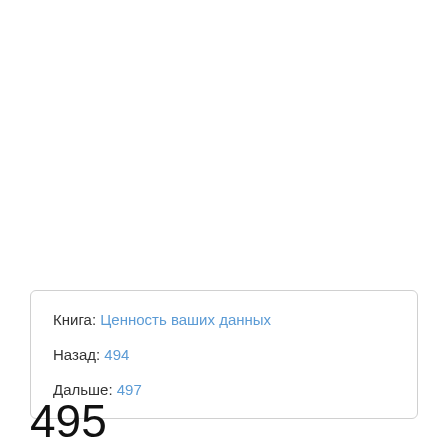Книга: Ценность ваших данных
Назад: 494
Дальше: 497
495